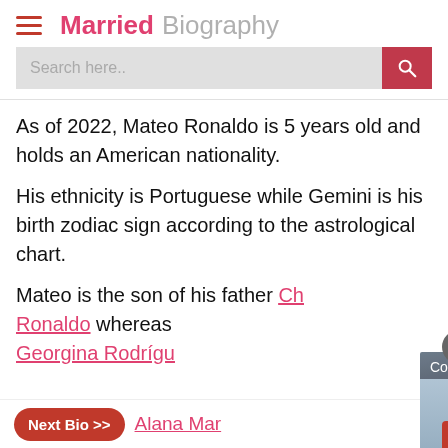Married Biography
Search here..
As of 2022, Mateo Ronaldo is 5 years old and holds an American nationality.
His ethnicity is Portuguese while Gemini is his birth zodiac sign according to the astrological chart.
Mateo is the son of his father Cristiano Ronaldo whereas his mother is Georgina Rodríguez
[Figure (screenshot): Video player overlay showing 'Come to Pac Bo t...' with play button and a scene of a person in red near a traditional building roof]
Next Bio >> Alana Mar